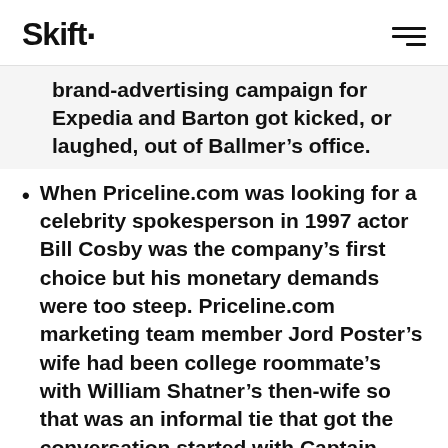Skift
brand-advertising campaign for Expedia and Barton got kicked, or laughed, out of Ballmer’s office.
When Priceline.com was looking for a celebrity spokesperson in 1997 actor Bill Cosby was the company’s first choice but his monetary demands were too steep. Priceline.com marketing team member Jord Poster’s wife had been college roommate’s with William Shatner’s then-wife so that was an informal tie that got the conversation started with Captain Kirk.
In the run-up to Priceline.com’s debut in 1997, founder Jay Walker flew to Dallas to